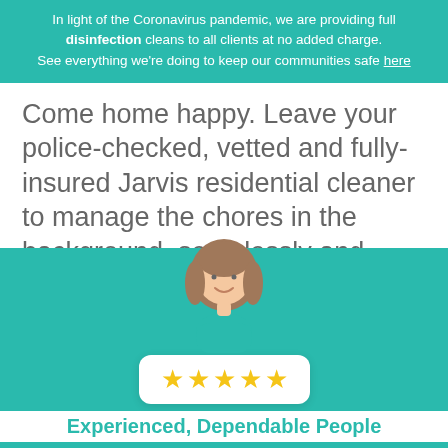In light of the Coronavirus pandemic, we are providing full disinfection cleans to all clients at no added charge. See everything we're doing to keep our communities safe here
Come home happy. Leave your police-checked, vetted and fully-insured Jarvis residential cleaner to manage the chores in the background, seamlessly and discreetly. So you can do what you'd rather be doing.
[Figure (illustration): Cartoon avatar of a woman with brown hair wearing a teal top, with a white card below showing five gold stars rating]
Experienced, Dependable People